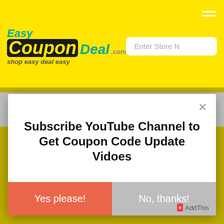[Figure (logo): EasyCouponDeal.com logo with yellow background, teal 'Easy' text, black rounded 'Coupon' block, teal 'Deal' text, and tagline 'shop easy deal easy']
1 Kg (2.2 Lb), Chocolate At Rs.1,299/-
Shop these Muscleblaze deals of the day to save as
Subscribe YouTube Channel to Get Coupon Code Update Vidoes
Yes please!
No, thanks!